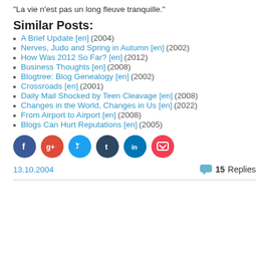“La vie n’est pas un long fleuve tranquille.”
Similar Posts:
A Brief Update [en] (2004)
Nerves, Judo and Spring in Autumn [en] (2002)
How Was 2012 So Far? [en] (2012)
Business Thoughts [en] (2008)
Blogtree: Blog Genealogy [en] (2002)
Crossroads [en] (2001)
Daily Mail Shocked by Teen Cleavage [en] (2008)
Changes in the World, Changes in Us [en] (2022)
From Airport to Airport [en] (2008)
Blogs Can Hurt Reputations [en] (2005)
[Figure (infographic): Row of social sharing icon buttons: Facebook, Google+, Twitter, Tumblr, LinkedIn, Pocket]
13.10.2004    15 Replies